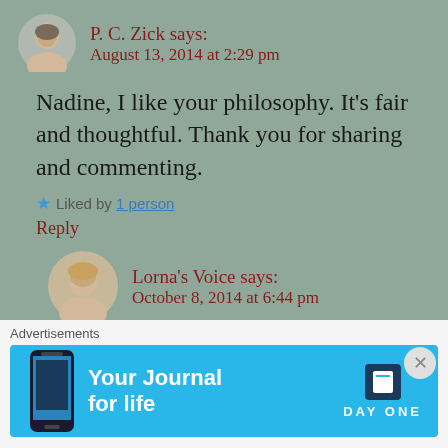P. C. Zick says: August 13, 2014 at 2:29 pm
Nadine, I like your philosophy. It's fair and thoughtful. Thank you for sharing and commenting.
★ Liked by 1 person
Reply
Lorna's Voice says: October 8, 2014 at 6:44 pm
Hi! I found you because you just reviewed
[Figure (infographic): Advertisement banner for Day One journal app with phone image and text 'Your Journal for life']